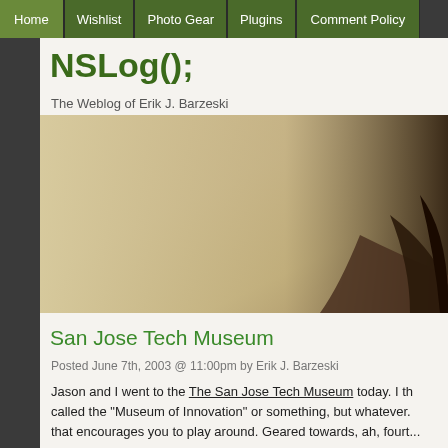Home | Wishlist | Photo Gear | Plugins | Comment Policy
NSLog();
The Weblog of Erik J. Barzeski
[Figure (photo): A decorative header banner image with warm beige/brown tones showing a blurred curved object]
San Jose Tech Museum
Posted June 7th, 2003 @ 11:00pm by Erik J. Barzeski
Jason and I went to the The San Jose Tech Museum today. I th... called the "Museum of Innovation" or something, but whatever. that encourages you to play around. Geared towards, ah, fourt...